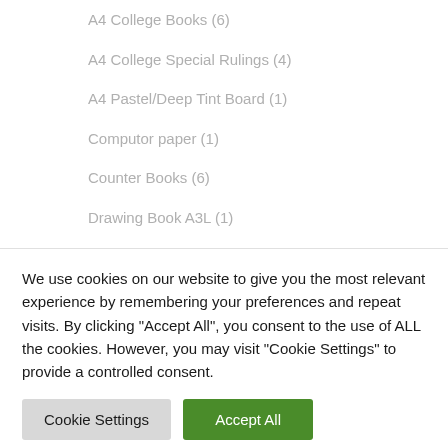A4 College Books (6)
A4 College Special Rulings (4)
A4 Pastel/Deep Tint Board (1)
Computor paper (1)
Counter Books (6)
Drawing Book A3L (1)
Examination Pads A4 (2)
Filing Book (1)
We use cookies on our website to give you the most relevant experience by remembering your preferences and repeat visits. By clicking "Accept All", you consent to the use of ALL the cookies. However, you may visit "Cookie Settings" to provide a controlled consent.
Cookie Settings | Accept All